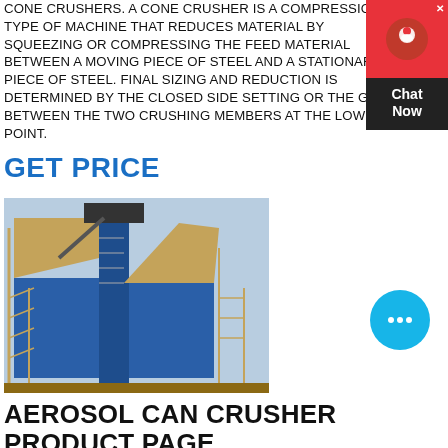CONE CRUSHERS. A CONE CRUSHER IS A COMPRESSION TYPE OF MACHINE THAT REDUCES MATERIAL BY SQUEEZING OR COMPRESSING THE FEED MATERIAL BETWEEN A MOVING PIECE OF STEEL AND A STATIONARY PIECE OF STEEL. FINAL SIZING AND REDUCTION IS DETERMINED BY THE CLOSED SIDE SETTING OR THE GAP BETWEEN THE TWO CRUSHING MEMBERS AT THE LOWEST POINT.
GET PRICE
[Figure (photo): Industrial cone crusher machine with blue metal structure, scaffolding, and yellow railings photographed outdoors.]
[Figure (other): Chat Now widget with red background showing chat icon and dark bottom section with 'Chat Now' text, plus a circular cyan chat bubble icon.]
AEROSOL CAN CRUSHER PRODUCT PAGE